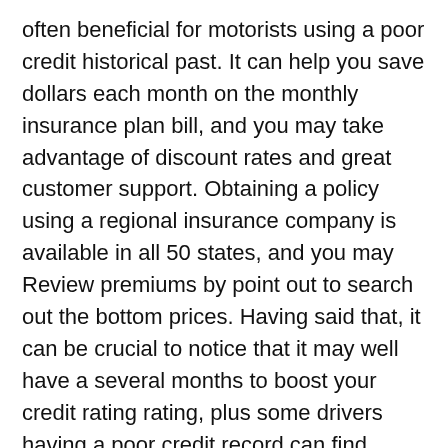often beneficial for motorists using a poor credit historical past. It can help you save dollars each month on the monthly insurance plan bill, and you may take advantage of discount rates and great customer support. Obtaining a policy using a regional insurance company is available in all 50 states, and you may Review premiums by point out to search out the bottom prices. Having said that, it can be crucial to notice that it may well have a several months to boost your credit rating rating, plus some drivers having a poor credit record can find yourself spending more than $400 a year.
Erie Insurance policy is another regional insurance company that gives cheap automobile insurance policy. This company is based in Pennsylvania, and has become in small business due to the fact 1925. Erie gives auto insurance policy, existence, and house insurance policies. Though Erie only provides coverage in specific states, it's a lot more than 13,000 unbiased insurance coverage agents all through the